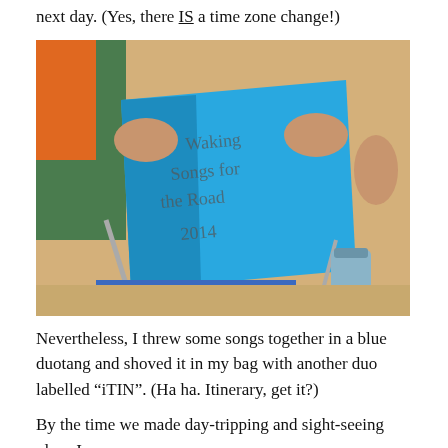next day. (Yes, there IS a time zone change!)
[Figure (photo): Person sitting in a beach chair on sandy beach, holding a blue duotang/folder with handwritten text on the cover. Background shows sand and another person's legs.]
Nevertheless, I threw some songs together in a blue duotang and shoved it in my bag with another duo labelled “iTIN”. (Ha ha. Itinerary, get it?)
By the time we made day-tripping and sight-seeing plans I